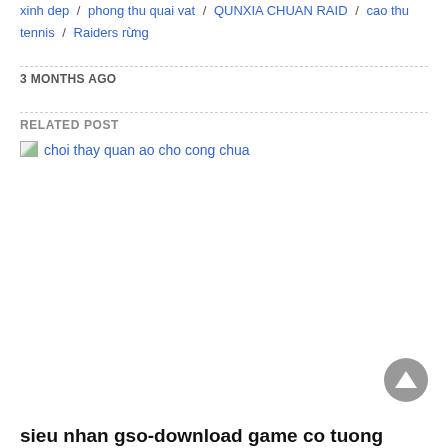xinh dep / phong thu quai vat / QUNXIA CHUAN RAID / cao thu tennis / Raiders rừng
3 MONTHS AGO
RELATED POST
choi thay quan ao cho cong chua
sieu nhan gso-download game co tuong